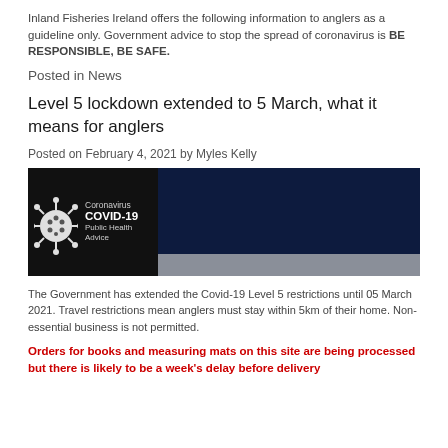Inland Fisheries Ireland offers the following information to anglers as a guideline only. Government advice to stop the spread of coronavirus is BE RESPONSIBLE, BE SAFE.
Posted in News
Level 5 lockdown extended to 5 March, what it means for anglers
Posted on February 4, 2021 by Myles Kelly
[Figure (illustration): Coronavirus COVID-19 Public Health Advice image with virus icon on black background and navy/grey panels]
The Government has extended the Covid-19 Level 5 restrictions until 05 March 2021. Travel restrictions mean anglers must stay within 5km of their home. Non-essential business is not permitted.
Orders for books and measuring mats on this site are being processed but there is likely to be a week's delay before delivery